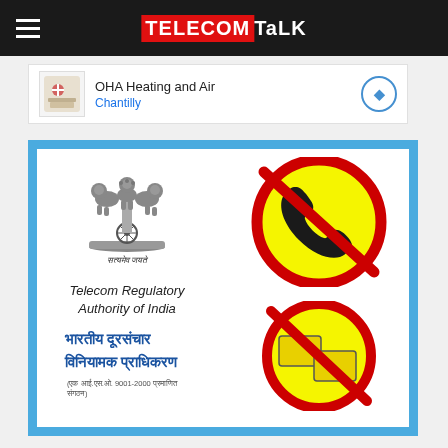TELECOMTALK
[Figure (illustration): Advertisement banner for OHA Heating and Air, Chantilly with map icon and navigation arrow button]
[Figure (infographic): Telecom Regulatory Authority of India (TRAI) logo with Ashoka Emblem and Hindi text 'भारतीय दूरसंचार विनियामक प्राधिकरण', alongside two no-call and no-SMS prohibition signs on yellow background with red circle and slash]